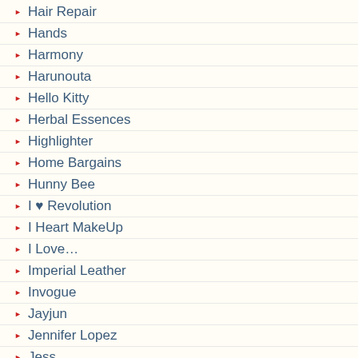Hair Repair
Hands
Harmony
Harunouta
Hello Kitty
Herbal Essences
Highlighter
Home Bargains
Hunny Bee
I ♥ Revolution
I Heart MakeUp
I Love…
Imperial Leather
Invogue
Jayjun
Jennifer Lopez
Jess
Jesus Del Pozo
Jiinju
Jil Sander